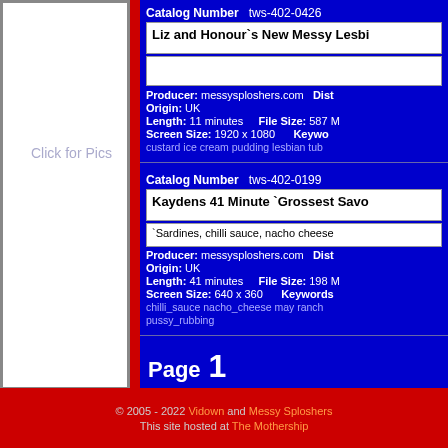Catalog Number   tws-402-0426
Liz and Honour`s New Messy Lesbi...
Producer: messysploshers.com   Dist...
Origin: UK
Length: 11 minutes    File Size: 587 M...
Screen Size: 1920 x 1080      Keyword...
custard ice cream pudding lesbian tub...
Click for Pics
Catalog Number   tws-402-0199
Kaydens 41 Minute `Grossest Savo...
`Sardines, chilli sauce, nacho cheese...
Producer: messysploshers.com   Dist...
Origin: UK
Length: 41 minutes    File Size: 198 M...
Screen Size: 640 x 360      Keywords:...
chilli_sauce nacho_cheese may ranch... pussy_rubbing
Click for Pics
Page   1
© 2005 - 2022 Vidown and Messy Sploshers  This site hosted at The Mothership